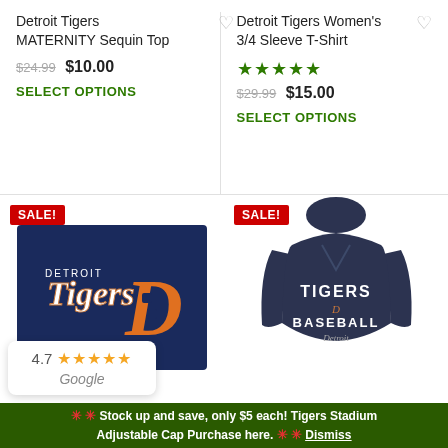Detroit Tigers MATERNITY Sequin Top
$24.99  $10.00
SELECT OPTIONS
Detroit Tigers Women's 3/4 Sleeve T-Shirt
★★★★★
$29.99  $15.00
SELECT OPTIONS
[Figure (illustration): Detroit Tigers logo on navy blue background with orange 'D' and Tigers script]
[Figure (photo): Detroit Tigers Women's long sleeve navy hoodie with TIGERS BASEBALL Detroit text]
SALE!
SALE!
4.7 ★★★★★ Google
❋ ❋ Stock up and save, only $5 each! Tigers Stadium Adjustable Cap Purchase here. ❋ ❋ Dismiss